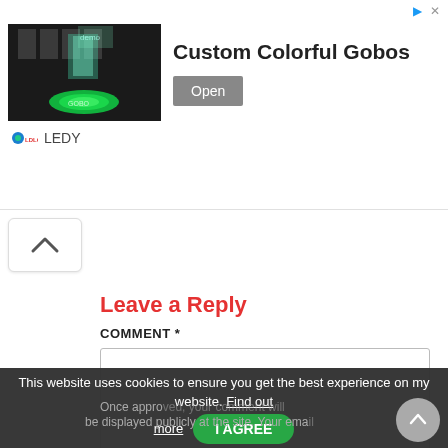[Figure (screenshot): Ad banner for Custom Colorful Gobos by LEDY with photo of a green gobo light projection in a building lobby]
[Figure (other): Scroll-up chevron button]
Leave a Reply
COMMENT *
[Figure (screenshot): Empty comment textarea input field]
This website uses cookies to ensure you get the best experience on my website. Find out more
[Figure (other): I AGREE green button and scroll-to-top circular arrow button]